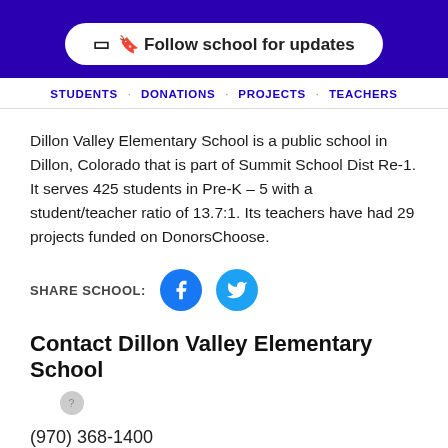[Figure (other): Purple banner header with Follow school for updates button]
STUDENTS · DONATIONS · PROJECTS · TEACHERS
Dillon Valley Elementary School is a public school in Dillon, Colorado that is part of Summit School Dist Re-1. It serves 425 students in Pre-K – 5 with a student/teacher ratio of 13.7:1. Its teachers have had 29 projects funded on DonorsChoose.
SHARE SCHOOL:
Contact Dillon Valley Elementary School
(970) 368-1400